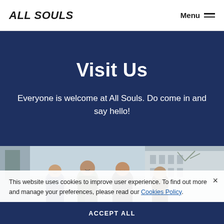ALL SOULS  Menu
Visit Us
Everyone is welcome at All Souls. Do come in and say hello!
[Figure (photo): Group of smiling people standing outside a building]
This website uses cookies to improve user experience. To find out more and manage your preferences, please read our Cookies Policy.
ACCEPT ALL